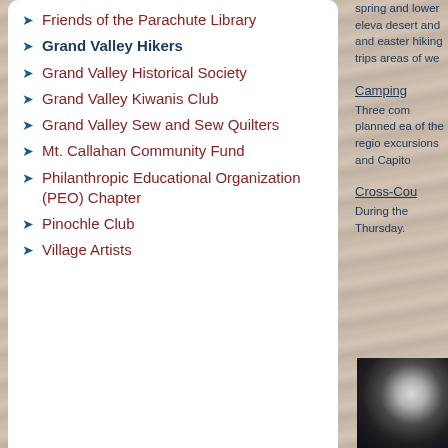Friends of the Parachute Library
Grand Valley Hikers
Grand Valley Historical Society
Grand Valley Kiwanis Club
Grand Valley Sew and Sew Quilters
Mt. Callahan Community Fund
Philanthropic Educational Organization (PEO) Chapter
Pinochle Club
Village Artists
spring and lower eleva desert and and eastern hiking trips areas of we
Camping
Three com planned ea of the regio excursions and Capito
Cross-Cou
During the Thursday.
[Figure (photo): Dark forest/snow scene photo]